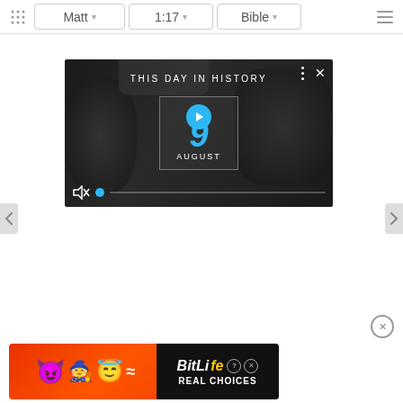Matt  1:17  Bible
[Figure (screenshot): Video thumbnail showing 'THIS DAY IN HISTORY' with a blue number 9 and 'AUGUST' text, play button overlay, mute icon, and progress bar. Black and white background with historical crowd scene.]
[Figure (advertisement): BitLife mobile game advertisement banner with emoji characters (devil, angel, person) on orange/red background. Text reads 'BitLife REAL CHOICES'.]